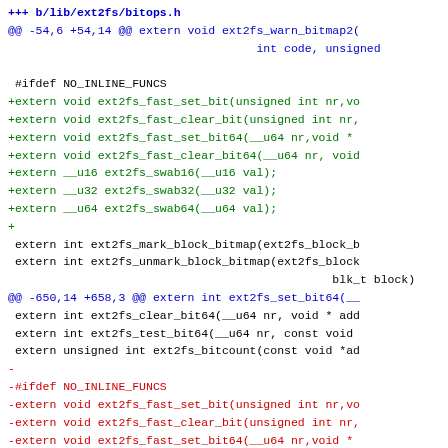+++ b/lib/ext2fs/bitops.h
@@ -54,6 +54,14 @@ extern void ext2fs_warn_bitmap2(
                                    int code, unsigned
#ifdef NO_INLINE_FUNCS
+extern void ext2fs_fast_set_bit(unsigned int nr,vo
+extern void ext2fs_fast_clear_bit(unsigned int nr,
+extern void ext2fs_fast_set_bit64(__u64 nr,void *
+extern void ext2fs_fast_clear_bit64(__u64 nr, void
+extern __u16 ext2fs_swab16(__u16 val);
+extern __u32 ext2fs_swab32(__u32 val);
+extern __u64 ext2fs_swab64(__u64 val);
+
 extern int ext2fs_mark_block_bitmap(ext2fs_block_b
 extern int ext2fs_unmark_block_bitmap(ext2fs_block
                                               blk_t block)
@@ -650,14 +658,3 @@ extern int ext2fs_set_bit64(__
 extern int ext2fs_clear_bit64(__u64 nr, void * add
 extern int ext2fs_test_bit64(__u64 nr, const void
 extern unsigned int ext2fs_bitcount(const void *ad
-
-#ifdef NO_INLINE_FUNCS
-extern void ext2fs_fast_set_bit(unsigned int nr,vo
-extern void ext2fs_fast_clear_bit(unsigned int nr,
-extern void ext2fs_fast_set_bit64(__u64 nr,void *
-extern void ext2fs_fast_clear_bit64(__u64 nr, void
-extern __u16 ext2fs_swab16(__u16 val);
-extern __u32 ext2fs_swab32(__u32 val);
-extern __u64 ext2fs_swab64(__u64 val);
-#endif